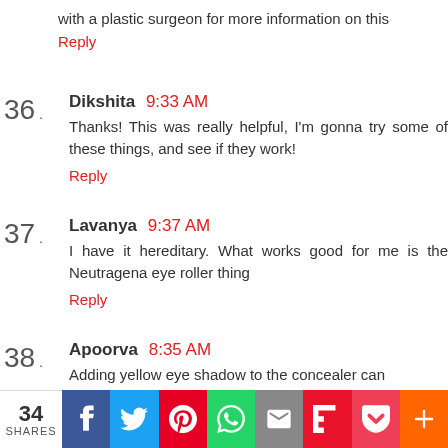with a plastic surgeon for more information on this
Reply
36 · Dikshita 9:33 AM
Thanks! This was really helpful, I'm gonna try some of these things, and see if they work!
Reply
37 · Lavanya 9:37 AM
I have it hereditary. What works good for me is the Neutragena eye roller thing
Reply
38 · Apoorva 8:35 AM
Adding yellow eye shadow to the concealer can
[Figure (infographic): Social share bar at the bottom showing 34 SHARES with icons for Facebook, Twitter, Pinterest, WhatsApp, Email, Flipboard, Pocket, and More]